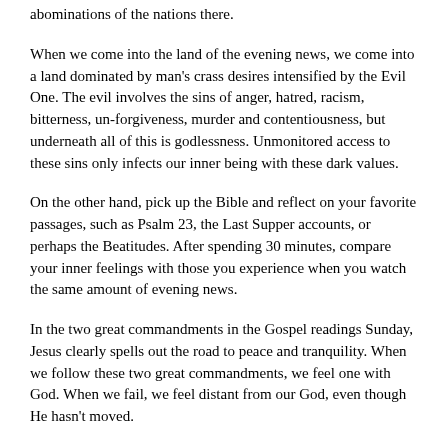abominations of the nations there.
When we come into the land of the evening news, we come into a land dominated by man's crass desires intensified by the Evil One. The evil involves the sins of anger, hatred, racism, bitterness, un-forgiveness, murder and contentiousness, but underneath all of this is godlessness. Unmonitored access to these sins only infects our inner being with these dark values.
On the other hand, pick up the Bible and reflect on your favorite passages, such as Psalm 23, the Last Supper accounts, or perhaps the Beatitudes. After spending 30 minutes, compare your inner feelings with those you experience when you watch the same amount of evening news.
In the two great commandments in the Gospel readings Sunday, Jesus clearly spells out the road to peace and tranquility. When we follow these two great commandments, we feel one with God. When we fail, we feel distant from our God, even though He hasn't moved.
In my experience, three clusters of sin trip us up and lead us astray from the two great commandments: First, un-forgiveness and the related sins of anger, resentment, bitterness, hatred, revenge and murder. Second is lust, with its bedfellows of pornography,